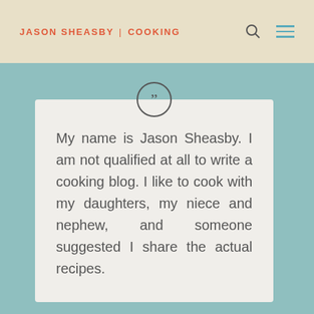JASON SHEASBY | COOKING
My name is Jason Sheasby. I am not qualified at all to write a cooking blog. I like to cook with my daughters, my niece and nephew, and someone suggested I share the actual recipes.